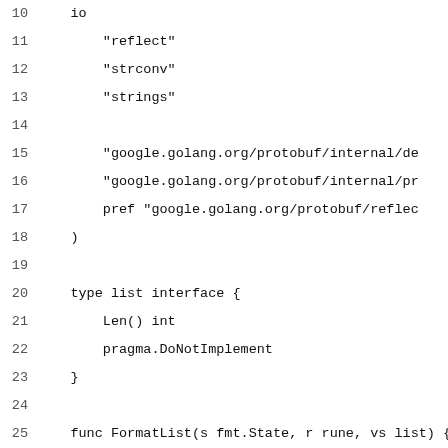10    io
11        "reflect"
12        "strconv"
13        "strings"
14
15        "google.golang.org/protobuf/internal/de
16        "google.golang.org/protobuf/internal/pr
17        pref "google.golang.org/protobuf/reflec
18    )
19
20    type list interface {
21        Len() int
22        pragma.DoNotImplement
23    }
24
25    func FormatList(s fmt.State, r rune, vs list) {
26        io.WriteString(s, formatListOpt(vs, tru
27    }
28    func formatListOpt(vs list, isRoot, allowMulti b
29        start, end := "[", "]"
30        if isRoot {
31            var name string